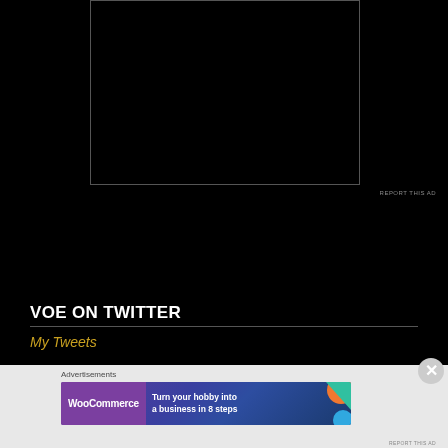[Figure (screenshot): Black video player area with gray border]
REPORT THIS AD
VOE ON TWITTER
My Tweets
Advertisements
[Figure (screenshot): WooCommerce advertisement banner: Turn your hobby into a business in 8 steps]
REPORT THIS AD